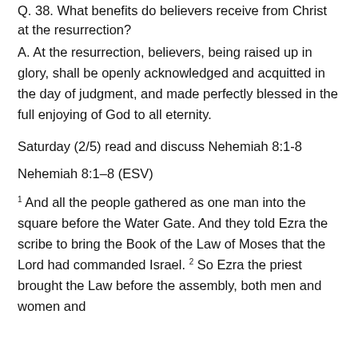Q. 38. What benefits do believers receive from Christ at the resurrection?
A. At the resurrection, believers, being raised up in glory, shall be openly acknowledged and acquitted in the day of judgment, and made perfectly blessed in the full enjoying of God to all eternity.
Saturday (2/5) read and discuss Nehemiah 8:1-8
Nehemiah 8:1–8 (ESV)
1 And all the people gathered as one man into the square before the Water Gate. And they told Ezra the scribe to bring the Book of the Law of Moses that the Lord had commanded Israel. 2 So Ezra the priest brought the Law before the assembly, both men and women and